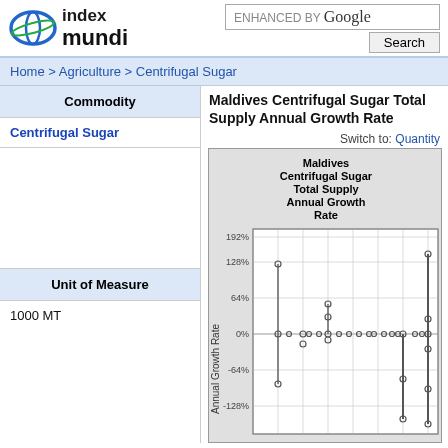index mundi | ENHANCED BY Google | Search
Home > Agriculture > Centrifugal Sugar
| Commodity |
| --- |
| Centrifugal Sugar |
Maldives Centrifugal Sugar Total Supply Annual Growth Rate
Switch to: Quantity
| Unit of Measure |
| --- |
| 1000 MT |
[Figure (continuous-plot): Scatter/dot plot showing annual growth rate over time. Y-axis ranges from about -128% to 192%, with gridlines at -128%, -64%, 0%, 64%, 128%, 192%. Points are scattered around 0% with some outliers reaching ~112% and ~-80%.]